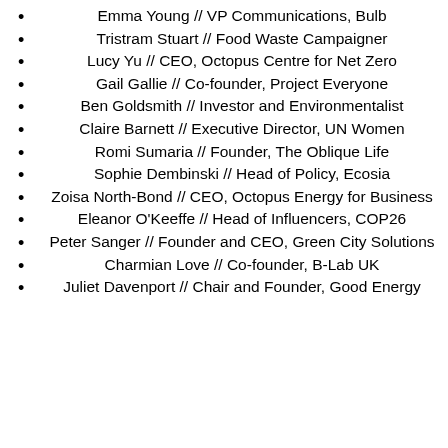Emma Young // VP Communications, Bulb
Tristram Stuart // Food Waste Campaigner
Lucy Yu // CEO, Octopus Centre for Net Zero
Gail Gallie // Co-founder, Project Everyone
Ben Goldsmith // Investor and Environmentalist
Claire Barnett // Executive Director, UN Women
Romi Sumaria // Founder, The Oblique Life
Sophie Dembinski // Head of Policy, Ecosia
Zoisa North-Bond // CEO, Octopus Energy for Business
Eleanor O'Keeffe // Head of Influencers, COP26
Peter Sanger // Founder and CEO, Green City Solutions
Charmian Love // Co-founder, B-Lab UK
Juliet Davenport // Chair and Founder, Good Energy